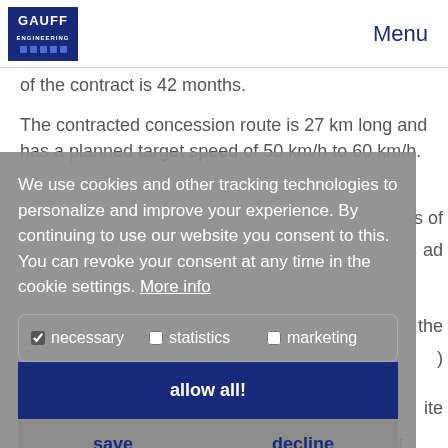GAUFF ENGINEERING | Menu
of the contract is 42 months.
The contracted concession route is 27 km long and has a planned target speed of 50 km/h to 60 km/h.
We use cookies and other tracking technologies to personalize and improve your experience. By continuing to use our website you consent to this. You can revoke your consent at any time in the cookie settings. More info
necessary | statistics | marketing
allow all!
save | decline